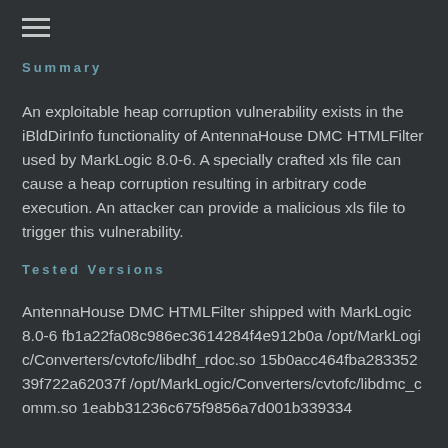Summary
An exploitable heap corruption vulnerability exists in the iBldDirInfo functionality of AntennaHouse DMC HTMLFilter used by MarkLogic 8.0-6. A specially crafted xls file can cause a heap corruption resulting in arbitrary code execution. An attacker can provide a malicious xls file to trigger this vulnerability.
Tested Versions
AntennaHouse DMC HTMLFilter shipped with MarkLogic 8.0-6 fb1a22fa08c986ec3614284f4e912b0a /opt/MarkLogic/Converters/cvtofc/libdhf_rdoc.so 15b0acc464fba28335239f722a62037f /opt/MarkLogic/Converters/cvtofc/libdmc_comm.so 1eabb31236c675f9856a7d001b339334 /opt/MarkLogic/Converters/cvtofc/libdhf_rules...